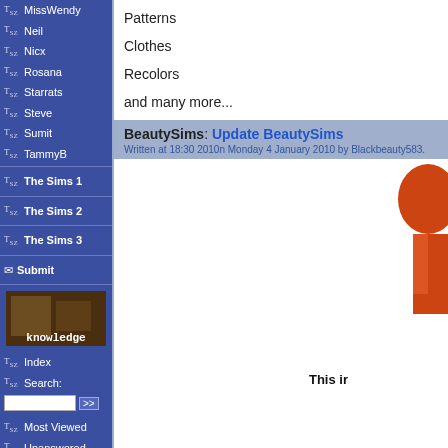MissWendy
Neil
Nicx
Rosana
Starrats
Steve
Sumit
TammyB
The Sims 1
The Sims 2
The Sims 3
Submit
[Figure (illustration): Knowledge base banner with dark background]
Index
Search:
Most Viewed
Unanswered
Most Recent
Lat. Answers
The Sims 1
The Sims 2
Console
Patterns
Clothes
Recolors
and many more...
BeautySims: Update BeautySims
Written at 18:30 2010n Monday 4 January 2010 by Blackbeauty583.
[Figure (illustration): Partial view of a Sims character figure on right side]
This is